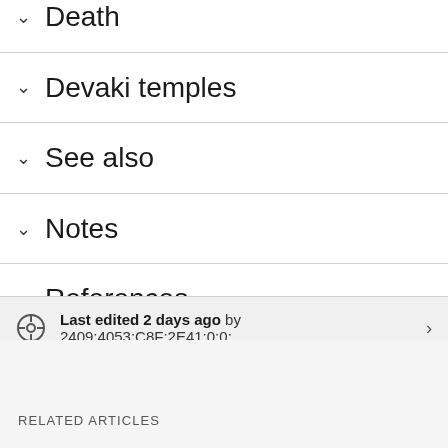Death
Devaki temples
See also
Notes
References
Last edited 2 days ago by 2409:4053:C8F:2E41:0:0:....
RELATED ARTICLES